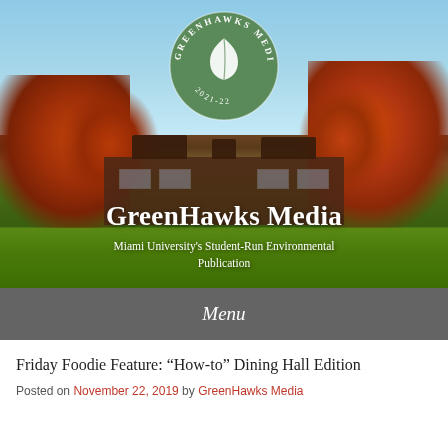[Figure (photo): Hero banner image of Miami University campus with autumn foliage, brick buildings, green lawn, blue sky, and a circular green Greenhawks Media 2021-22 logo badge centered at the top. White text overlaid reads 'GreenHawks Media' and 'Miami University's Student-Run Environmental Publication'.]
GreenHawks Media
Miami University's Student-Run Environmental Publication
Menu
Friday Foodie Feature: “How-to” Dining Hall Edition
Posted on November 22, 2019 by GreenHawks Media